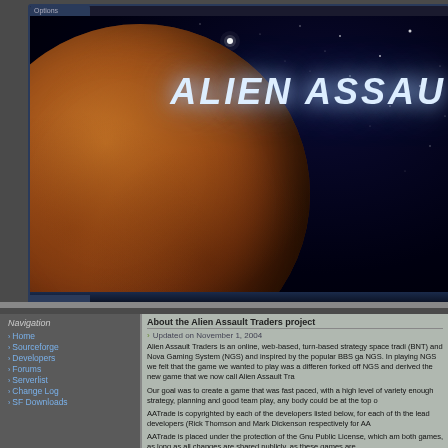[Figure (screenshot): Alien Assault Traders website banner with a Mars-like planet against a starfield background. The text 'ALIEN ASSAU' (truncated) appears in the upper right in white italic letters. Dark space background with stars.]
About the Alien Assault Traders project
Updated on November 1, 2004
Alien Assault Traders is an online, web-based, turn-based strategy space trad (BNT) and Nova Gaming System (NGS) and inspired by the popular BBS ga NGS. In playing NGS we felt that the game we wanted to play was a differe forked off NGS and derived the new game that we now call Alien Assault Tra
Our goal was to create a game that was fast paced, with a high level of variety enough strategy, planning and good team play, any body could be at the top o
AATrade is copyrighted by each of the developers listed below, for each of th the lead developers (Rick Thomson and Mark Dickenson respectively for AA
AATrade is placed under the protection of the Gnu Public License, which am both games, as long as all changes are shared publicly, as these games are
Home
Sourceforge
Developers
Forums
Serverlist
Change Log
SF Downloads